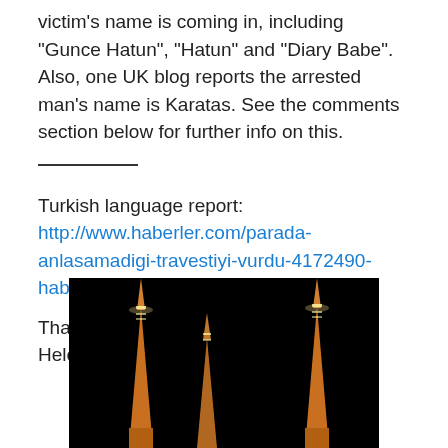victim's name is coming in, including “Gunce Hatun”, “Hatun” and “Diary Babe”.  Also, one UK blog reports the arrested man’s name is Karatas. See the comments section below for further info on this.
Turkish language report: http://www.haberler.com/parada-anlasamadigi-travestiyi-vurdu-4172490-haberi/
Thanks to Jasmine Emily Seymour and Helene Hazera for the tips.
[Figure (photo): Nighttime photograph of illuminated mosque minarets against a black sky, showing three pointed minaret spires lit up in amber/gold light]